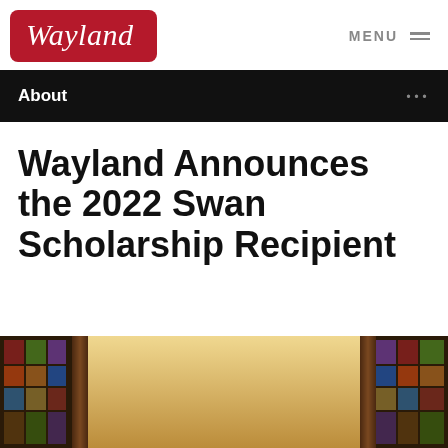Wayland
MENU
About
Wayland Announces the 2022 Swan Scholarship Recipient
[Figure (photo): Interior of a church or chapel with colorful stained glass windows on the left and right sides, and a warm golden glow in the center background, with a dark wood door or frame visible in the center.]